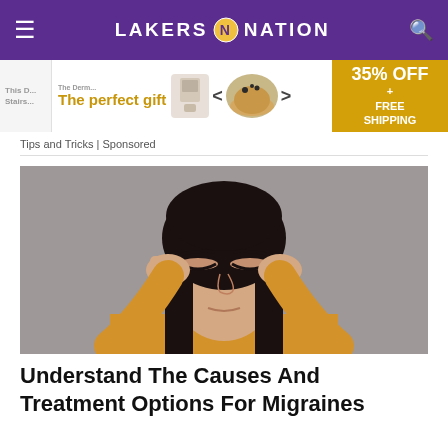LAKERS 🏆 NATION
[Figure (infographic): Advertisement banner: 'The perfect gift' with product images and '35% OFF + FREE SHIPPING' gold panel]
Tips and Tricks | Sponsored
[Figure (photo): Woman with dark hair wearing a yellow/mustard top, pressing both hands to her temples with eyes closed, appearing to have a headache or migraine, against a grey background]
Understand The Causes And Treatment Options For Migraines